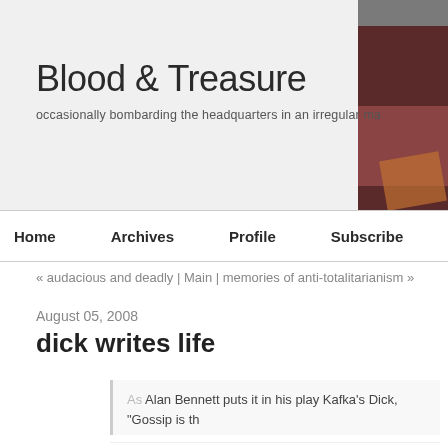Blood & Treasure
occasionally bombarding the headquarters in an irregular ma
Home | Archives | Profile | Subscribe
« audacious and deadly | Main | memories of anti-totalitarianism »
August 05, 2008
dick writes life
As Alan Bennett puts it in his play Kafka's Dick, "Gossip is th... information, like the fact that Kafka had a small penis, "pass
The central conceit of Kafka's Dick is that Kafka and his frie... home of a suburban couple: Sydney, an insurance salesman